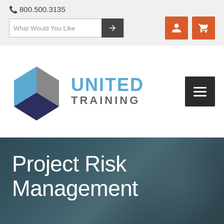📞 800.500.3135
[Figure (screenshot): Search box with placeholder 'What Would You Like' and arrow button, plus orange user and cart icon buttons]
[Figure (logo): United Training logo with 3D cube icon in blue, gray, and dark purple/navy, and text 'UNITED TRAINING' in blue and gray]
Project Risk Management